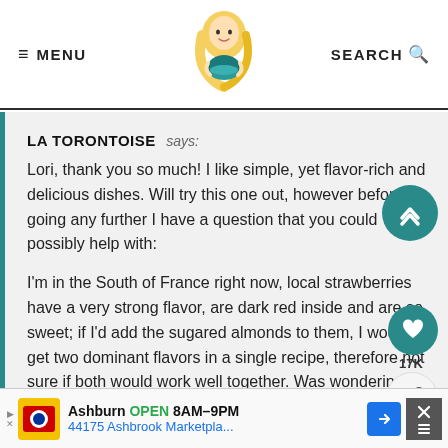≡ MENU | [logo] | SEARCH 🔍
LA TORONTOISE says:
Lori, thank you so much! I like simple, yet flavor-rich and delicious dishes. Will try this one out, however before going any further I have a question that you could possibly help with:

I'm in the South of France right now, local strawberries have a very strong flavor, are dark red inside and are so sweet; if I'd add the sugared almonds to them, I would get two dominant flavors in a single recipe, therefore not sure if both would work well together. Was wondering if some freshly ground almonds would do a better job (as ground
Ashburn OPEN 8AM–9PM · 44175 Ashbrook Marketpla...